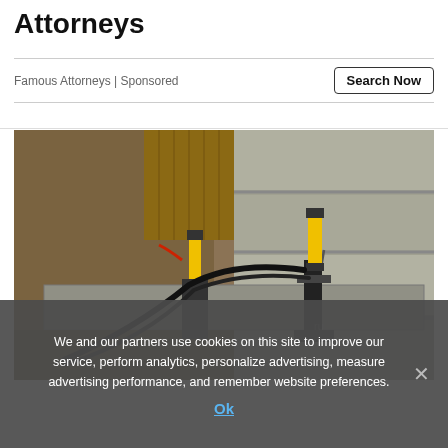Attorneys
Famous Attorneys | Sponsored
Search Now
[Figure (photo): Construction site photo showing hydraulic push pier foundation repair equipment mounted on a cracked concrete block wall, with yellow hydraulic cylinders, black cables, and metal brackets visible against an excavated earth background.]
We and our partners use cookies on this site to improve our service, perform analytics, personalize advertising, measure advertising performance, and remember website preferences.
Ok